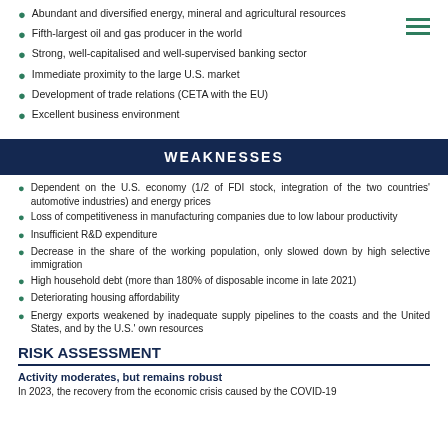Abundant and diversified energy, mineral and agricultural resources
Fifth-largest oil and gas producer in the world
Strong, well-capitalised and well-supervised banking sector
Immediate proximity to the large U.S. market
Development of trade relations (CETA with the EU)
Excellent business environment
WEAKNESSES
Dependent on the U.S. economy (1/2 of FDI stock, integration of the two countries' automotive industries) and energy prices
Loss of competitiveness in manufacturing companies due to low labour productivity
Insufficient R&D expenditure
Decrease in the share of the working population, only slowed down by high selective immigration
High household debt (more than 180% of disposable income in late 2021)
Deteriorating housing affordability
Energy exports weakened by inadequate supply pipelines to the coasts and the United States, and by the U.S.' own resources
RISK ASSESSMENT
Activity moderates, but remains robust
In 2023, the recovery from the economic crisis caused by the COVID-19